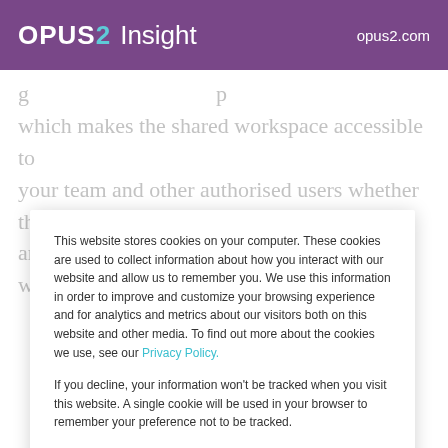OPUS2 Insight  opus2.com
which makes the shared workspace accessible to your team and other authorised users whether they are onsite or remote. Documents, transcripts, web
This website stores cookies on your computer. These cookies are used to collect information about how you interact with our website and allow us to remember you. We use this information in order to improve and customize your browsing experience and for analytics and metrics about our visitors both on this website and other media. To find out more about the cookies we use, see our Privacy Policy.
If you decline, your information won't be tracked when you visit this website. A single cookie will be used in your browser to remember your preference not to be tracked.
Cookie preferences  Accept  Decline